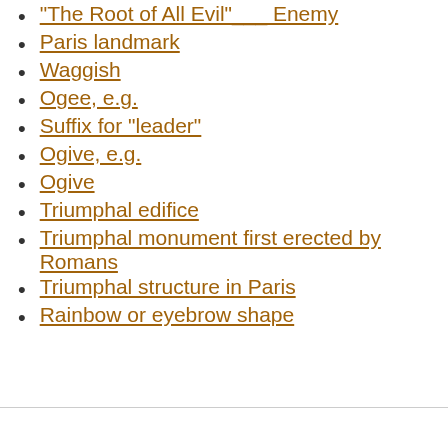"The Root of All Evil"___ Enemy
Paris landmark
Waggish
Ogee, e.g.
Suffix for "leader"
Ogive, e.g.
Ogive
Triumphal edifice
Triumphal monument first erected by Romans
Triumphal structure in Paris
Rainbow or eyebrow shape